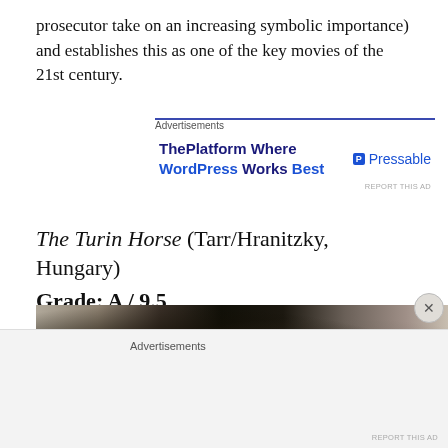prosecutor take on an increasing symbolic importance) and establishes this as one of the key movies of the 21st century.
[Figure (screenshot): Advertisement banner for Pressable WordPress hosting: 'ThePlatform Where WordPress Works Best' with Pressable logo]
The Turin Horse (Tarr/Hranitzky, Hungary)
Grade: A / 9.5
[Figure (photo): Black and white still from The Turin Horse film showing a figure in a doorway of a stone building]
[Figure (screenshot): Bottom advertisement area with Advertisements label and REPORT THIS AD text]